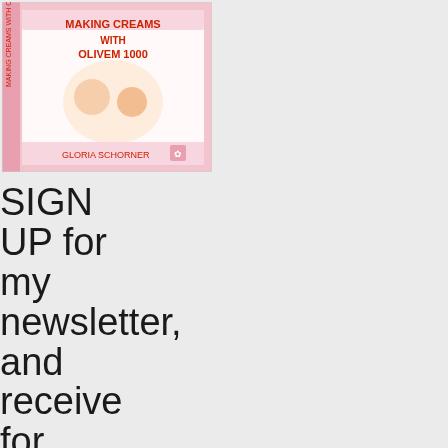[Figure (illustration): Book cover for 'Making Creams with Olivem 1000' by an author, shown as a small illustrated book cover image in the top-left corner.]
SIGN UP for my newsletter, and receive for FREE my 25 page E-book Making creams with all natural emulsifier Olivem 1000 Join almost 3000